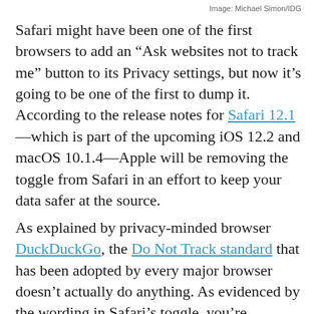Image: Michael Simon/IDG
Safari might have been one of the first browsers to add an “Ask websites not to track me” button to its Privacy settings, but now it’s going to be one of the first to dump it. According to the release notes for Safari 12.1—which is part of the upcoming iOS 12.2 and macOS 10.1.4—Apple will be removing the toggle from Safari in an effort to keep your data safer at the source.
As explained by privacy-minded browser DuckDuckGo, the Do Not Track standard that has been adopted by every major browser doesn’t actually do anything. As evidenced by the wording in Safari’s toggle, you’re basically asking websites to leave you alone, but that doesn’t necessarily mean they will—and most don’t. It’s so toothless in fact, that Apple is removing it in order to